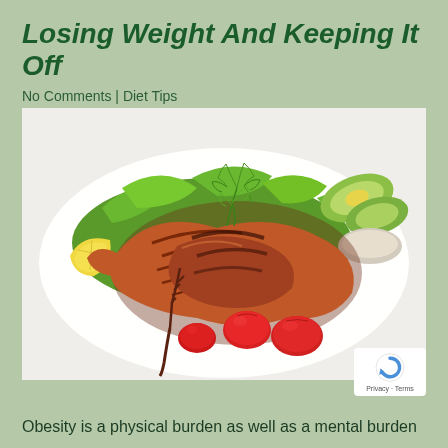Losing Weight And Keeping It Off
No Comments | Diet Tips
[Figure (photo): A grilled salmon steak garnished with fresh dill on a white plate, surrounded by green lettuce, cherry tomatoes, lemon wedge, avocado slices, and a small bowl of sauce. A dark fork rests on the plate.]
Obesity is a physical burden as well as a mental burden